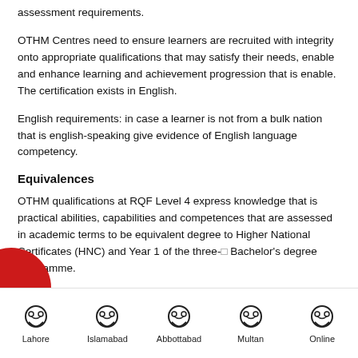assessment requirements.
OTHM Centres need to ensure learners are recruited with integrity onto appropriate qualifications that may satisfy their needs, enable and enhance learning and achievement progression that is enable. The certification exists in English.
English requirements: in case a learner is not from a bulk nation that is english-speaking give evidence of English language competency.
Equivalences
OTHM qualifications at RQF Level 4 express knowledge that is practical abilities, capabilities and competences that are assessed in academic terms to be equivalent degree to Higher National Certificates (HNC) and Year 1 of the three-[...] Bachelor's degree programme.
Lahore | Islamabad | Abbottabad | Multan | Online